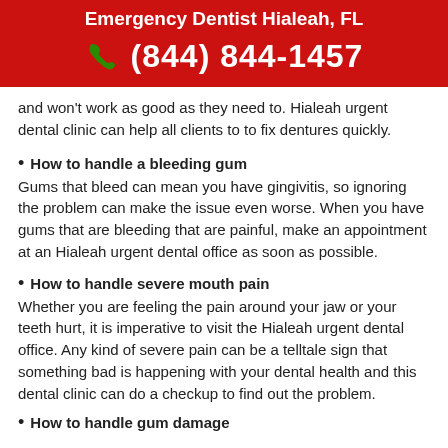Emergency Dentist Hialeah, FL
(844) 844-1457
and won't work as good as they need to. Hialeah urgent dental clinic can help all clients to to fix dentures quickly.
How to handle a bleeding gum
Gums that bleed can mean you have gingivitis, so ignoring the problem can make the issue even worse. When you have gums that are bleeding that are painful, make an appointment at an Hialeah urgent dental office as soon as possible.
How to handle severe mouth pain
Whether you are feeling the pain around your jaw or your teeth hurt, it is imperative to visit the Hialeah urgent dental office. Any kind of severe pain can be a telltale sign that something bad is happening with your dental health and this dental clinic can do a checkup to find out the problem.
How to handle gum damage